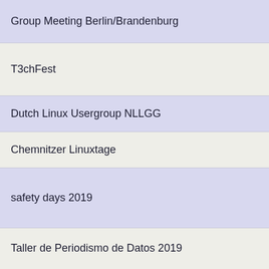Group Meeting Berlin/Brandenburg
T3chFest
Dutch Linux Usergroup NLLGG
Chemnitzer Linuxtage
safety days 2019
Taller de Periodismo de Datos 2019